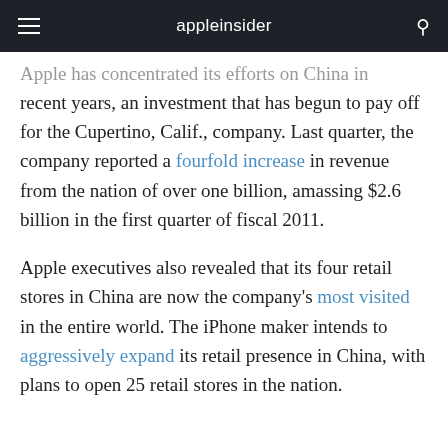appleinsider
Apple has concentrated its efforts on China in recent years, an investment that has begun to pay off for the Cupertino, Calif., company. Last quarter, the company reported a fourfold increase in revenue from the nation of over one billion, amassing $2.6 billion in the first quarter of fiscal 2011.
Apple executives also revealed that its four retail stores in China are now the company's most visited in the entire world. The iPhone maker intends to aggressively expand its retail presence in China, with plans to open 25 retail stores in the nation.